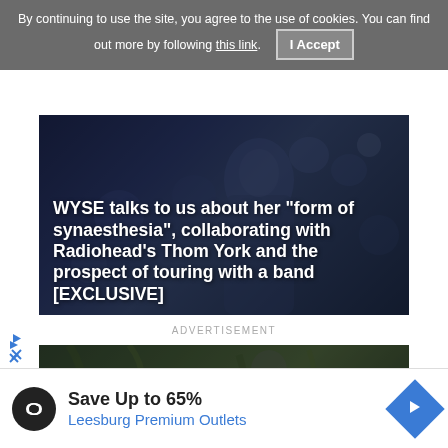By continuing to use the site, you agree to the use of cookies. You can find out more by following this link.  I Accept
[Figure (photo): Dark blue-toned photo of a performer on stage with bokeh lights in background, overlaid with white bold text article headline]
WYSE talks to us about her "form of synaesthesia", collaborating with Radiohead's Thom York and the prospect of touring with a band [EXCLUSIVE]
ADVERTISEMENT
[Figure (photo): Dark green-toned photo of a young man sitting among tree roots or tangled wood, overlaid with white bold text beginning of article headline]
Bay Bryan talks to us about being a "true supers singer"
[Figure (infographic): Advertisement banner: dark circular logo with infinity-like symbol, text 'Save Up to 65% Leesburg Premium Outlets', blue diamond arrow icon on right]